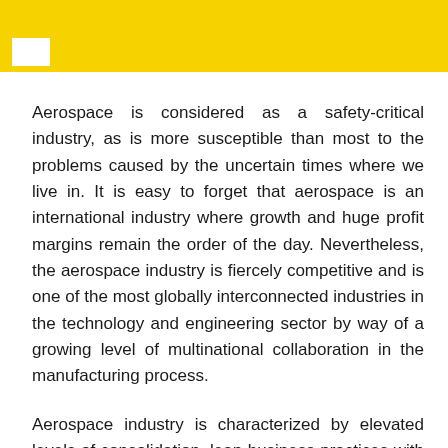Aerospace is considered as a safety-critical industry, as is more susceptible than most to the problems caused by the uncertain times where we live in. It is easy to forget that aerospace is an international industry where growth and huge profit margins remain the order of the day. Nevertheless, the aerospace industry is fiercely competitive and is one of the most globally interconnected industries in the technology and engineering sector by way of a growing level of multinational collaboration in the manufacturing process.
Aerospace industry is characterized by elevated levels of consolidation, lean business practices with inflated expenses and advanced technologies. High jet prices now account for